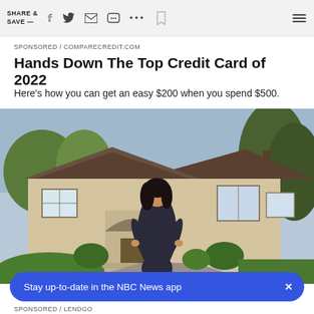SHARE & SAVE —
SPONSORED / COMPARECREDIT.COM
Hands Down The Top Credit Card of 2022
Here's how you can get an easy $200 when you spend $500.
[Figure (photo): Woman in black dress standing in front of a large luxury house with a driveway, trees, and green lawn]
Stay up-to-date in the NBC News app
SPONSORED / LENDGO